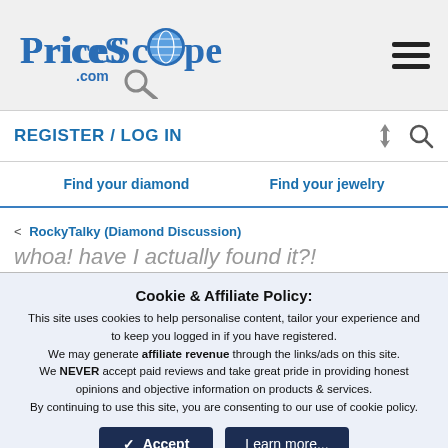PriceScope.com
REGISTER / LOG IN
Find your diamond   Find your jewelry
< RockyTalky (Diamond Discussion)
whoa! have I actually found it?!
Cookie & Affiliate Policy: This site uses cookies to help personalise content, tailor your experience and to keep you logged in if you have registered. We may generate affiliate revenue through the links/ads on this site. We NEVER accept paid reviews and take great pride in providing honest opinions and objective information on products & services. By continuing to use this site, you are consenting to our use of cookie policy.